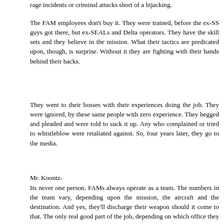rage incidents or criminal attacks short of a hijacking.
The FAM employees don't buy it. They were trained, before the ex-SS guys got there, but ex-SEALs and Delta operators. They have the skill sets and they believe in the mission. What their tactics are predicated upon, though, is surprise. Without it they are fighting with their hands behind their backs.
They went to their bosses with their experiences doing the job. They were ignored, by these same people with zero experience. They begged and pleaded and were told to suck it up. Any who complained or tried to whistleblow were retaliated against. So, four years later, they go to the media.
Mr. Koontz-
Its never one person. FAMs always operate as a team. The numbers in the team vary, depending upon the mission, the aircraft and the destination. And yes, they'll discharge their weapon should it come to that. The only real good part of the job, depending on which office they work in, is the training. They train far more than just about any other fed